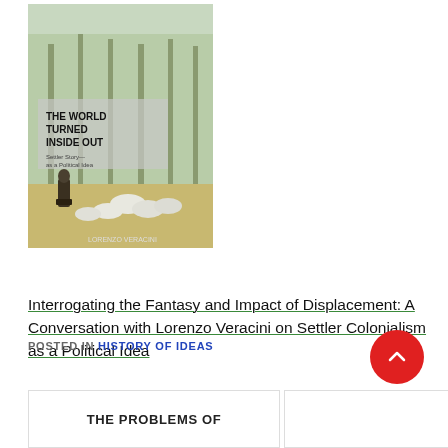[Figure (photo): Book cover of 'The World Turned Inside Out' showing a pastoral scene with a rider on horseback and sheep in a tree-lined setting]
Interrogating the Fantasy and Impact of Displacement: A Conversation with Lorenzo Veracini on Settler Colonialism as a Political Idea
12th May 2022
In "History of ideas"
POSTED IN HISTORY OF IDEAS
THE PROBLEMS OF